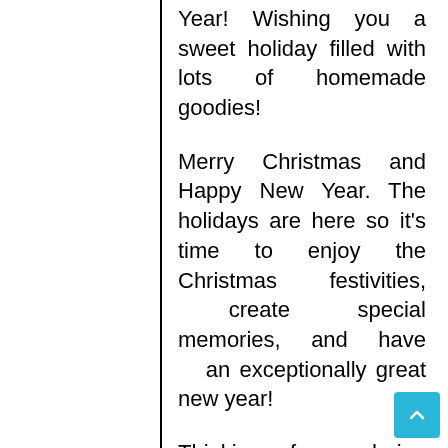Year! Wishing you a sweet holiday filled with lots of homemade goodies!
Merry Christmas and Happy New Year. The holidays are here so it's time to enjoy the Christmas festivities, create special memories, and have an exceptionally great new year!
Thinking of you during this delightful holiday and sending a message of hope, peace, and love your way. Have a sensational Christmas day and an exciting